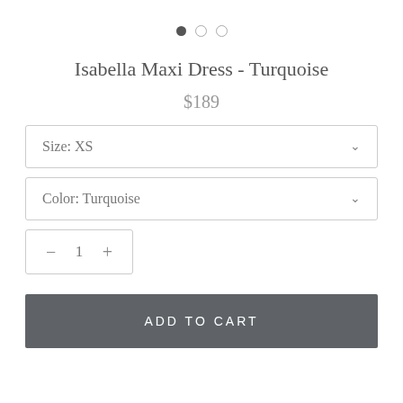[Figure (other): Carousel navigation dots: one filled dark dot and two empty/outline dots]
Isabella Maxi Dress - Turquoise
$189
Size: XS
Color: Turquoise
− 1 +
ADD TO CART